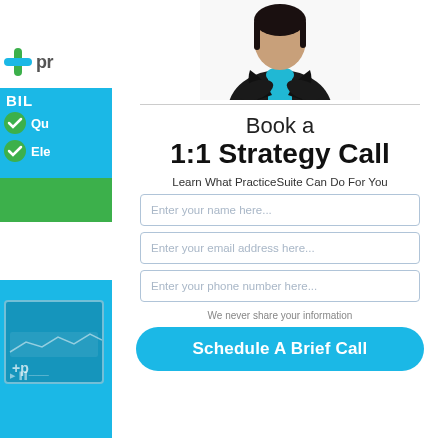[Figure (screenshot): Left panel showing PracticeSuite branding with logo, checklist items (Qu... and Ele...) with green checkmarks on blue background, green bar, and video thumbnail on cyan background]
[Figure (photo): Professional woman in dark jacket with arms crossed, teal/blue scarf, white background]
Book a 1:1 Strategy Call
Learn What PracticeSuite Can Do For You
Enter your name here...
Enter your email address here...
Enter your phone number here...
We never share your information
Schedule A Brief Call